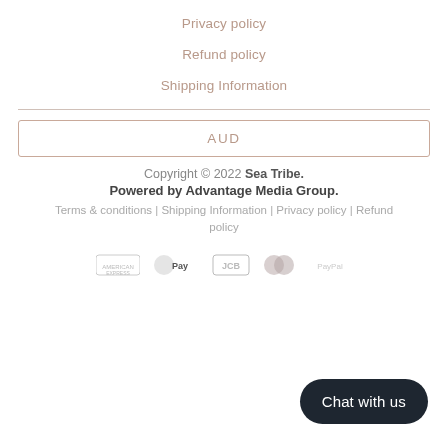Privacy policy
Refund policy
Shipping Information
AUD
Copyright © 2022 Sea Tribe.
Powered by Advantage Media Group.
Terms & conditions | Shipping Information | Privacy policy | Refund policy
[Figure (other): Payment method logos: American Express, Apple Pay, JCB, Mastercard, PayPal]
Chat with us